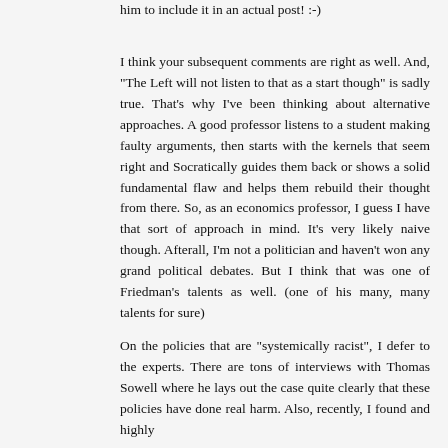him to include it in an actual post! :-)
I think your subsequent comments are right as well. And, "The Left will not listen to that as a start though" is sadly true. That's why I've been thinking about alternative approaches. A good professor listens to a student making faulty arguments, then starts with the kernels that seem right and Socratically guides them back or shows a solid fundamental flaw and helps them rebuild their thought from there. So, as an economics professor, I guess I have that sort of approach in mind. It's very likely naive though. Afterall, I'm not a politician and haven't won any grand political debates. But I think that was one of Friedman's talents as well. (one of his many, many talents for sure)
On the policies that are "systemically racist", I defer to the experts. There are tons of interviews with Thomas Sowell where he lays out the case quite clearly that these policies have done real harm. Also, recently, I found and highly